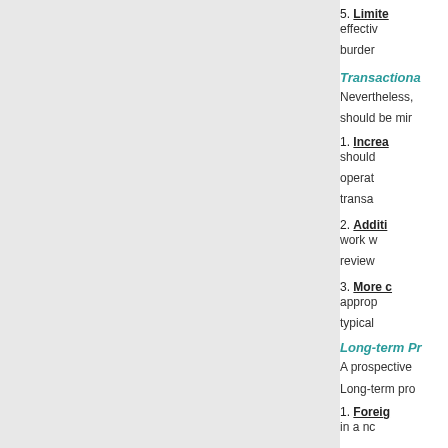5. Limited: effectively burden
Transactiona
Nevertheless, should be min
1. Increased: should operational transac
2. Additi: work w review
3. More c: approp typical
Long-term Pr
A prospective
Long-term pro
1. Foreig: in a no